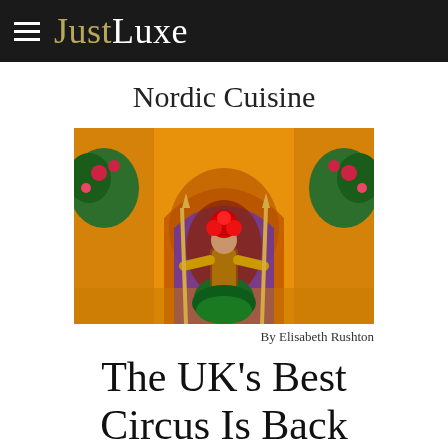JustLuxe
Nordic Cuisine
[Figure (photo): A performer in an elaborate green costume with a red floral headdress stands with arms outstretched at the entrance of a golden arch decorated with flowers, in a circus or theatrical setting.]
By Elisabeth Rushton
The UK's Best Circus Is Back